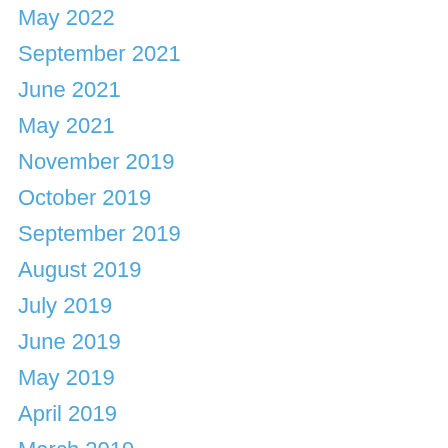May 2022
September 2021
June 2021
May 2021
November 2019
October 2019
September 2019
August 2019
July 2019
June 2019
May 2019
April 2019
March 2019
February 2019
January 2019
December 2018
November 2018
October 2018
September 2018
August 2018